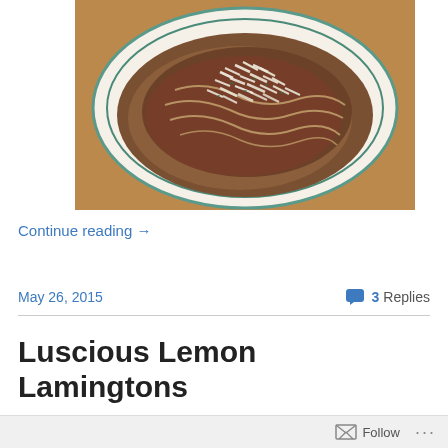[Figure (photo): A white ceramic bowl with blue-green rim lines filled with pasta or noodles topped with grated parmesan cheese, sitting on a wooden surface.]
Continue reading →
May 26, 2015
3 Replies
Luscious Lemon Lamingtons
Follow ...